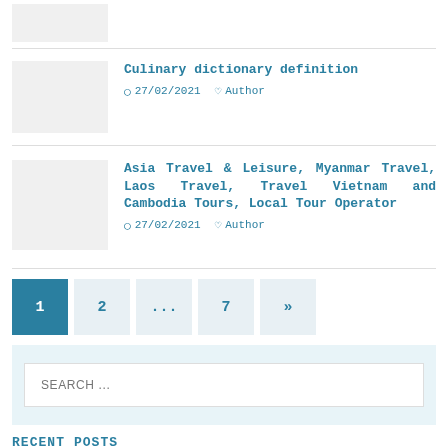[Figure (photo): Partial thumbnail image at top of page (cropped)]
Culinary dictionary definition — 27/02/2021 Author
Asia Travel & Leisure, Myanmar Travel, Laos Travel, Travel Vietnam and Cambodia Tours, Local Tour Operator — 27/02/2021 Author
Pagination: 1 (active), 2, ..., 7, »
SEARCH ...
RECENT POSTS